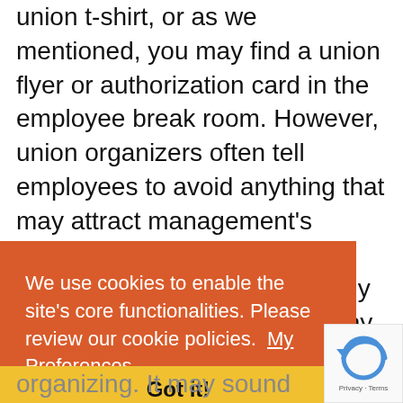union t-shirt, or as we mentioned, you may find a union flyer or authorization card in the employee break room. However, union organizers often tell employees to avoid anything that may attract management's attention, so you're unlikely to see such overt signs, especially early in a campaign. This is why it's important to learn to
We use cookies to enable the site's core functionalities. Please review our cookie policies.  My Preferences
Got it!
organizing. It may sound strange on